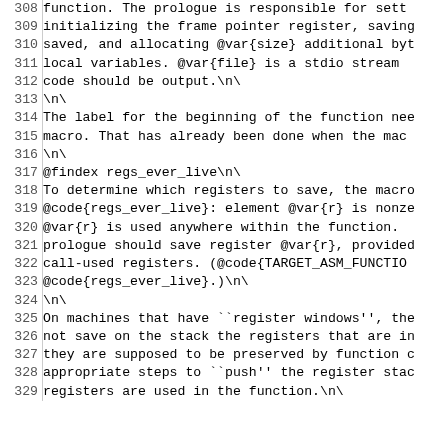308  function.  The prologue is responsible for sett
309  initializing the frame pointer register, saving
310  saved, and allocating @var{size} additional byt
311  local variables.  @var{file} is a stdio stream
312  code should be output.\n\
313  \n\
314  The label for the beginning of the function nee
315  macro.  That has already been done when the mac
316  \n\
317  @findex regs_ever_live\n\
318  To determine which registers to save, the macro
319  @code{regs_ever_live}: element @var{r} is nonze
320  @var{r} is used anywhere within the function.
321  prologue should save register @var{r}, provided
322  call-used registers.  (@code{TARGET_ASM_FUNCTIO
323  @code{regs_ever_live}.)\n\
324  \n\
325  On machines that have ``register windows'', the
326  not save on the stack the registers that are in
327  they are supposed to be preserved by function c
328  appropriate steps to ``push'' the register stac
329  registers are used in the function.\n\